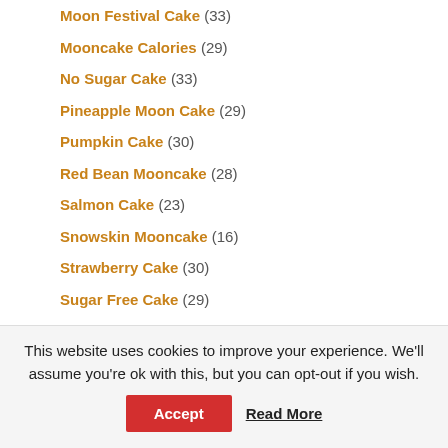Moon Festival Cake (33)
Mooncake Calories (29)
No Sugar Cake (33)
Pineapple Moon Cake (29)
Pumpkin Cake (30)
Red Bean Mooncake (28)
Salmon Cake (23)
Snowskin Mooncake (16)
Strawberry Cake (30)
Sugar Free Cake (29)
This website uses cookies to improve your experience. We'll assume you're ok with this, but you can opt-out if you wish.
Accept | Read More